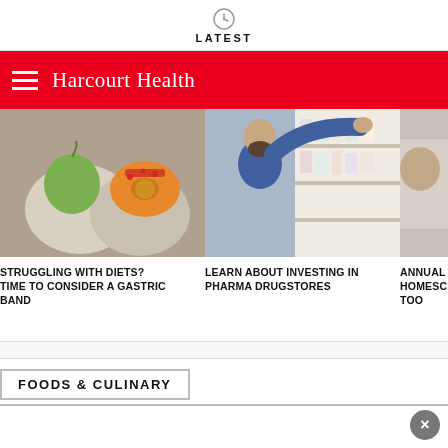LATEST
Harcourt Health
[Figure (photo): Person holding a green apple and a bitten donut with red glaze]
STRUGGLING WITH DIETS? TIME TO CONSIDER A GASTRIC BAND
[Figure (photo): Man in blue shirt reaching for medicine on pharmacy shelves]
LEARN ABOUT INVESTING IN PHARMA DRUGSTORES
[Figure (photo): Partial view of a person, cropped]
ANNUAL C HOMESCH TOO
FOODS & CULINARY